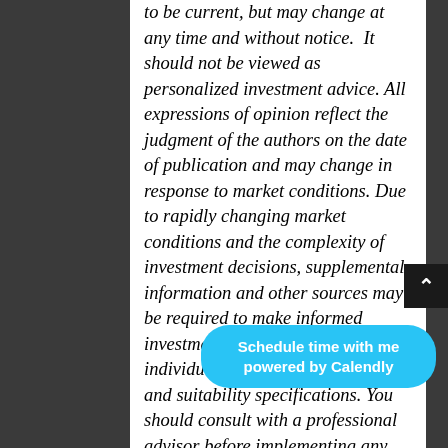to be current, but may change at any time and without notice. It should not be viewed as personalized investment advice. All expressions of opinion reflect the judgment of the authors on the date of publication and may change in response to market conditions. Due to rapidly changing market conditions and the complexity of investment decisions, supplemental information and other sources may be required to make informed investment decisions based on your individual investment objectives and suitability specifications. You should consult with a professional advisor before implementing any strategies discussed. Content should not be ... buy or sell any of the securities mentioned or